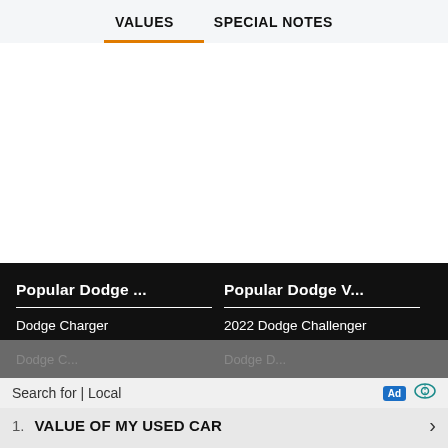VALUES   SPECIAL NOTES
Popular Dodge ...
Dodge Charger
Popular Dodge V...
2022 Dodge Challenger
Search for | Local
1.  VALUE OF MY USED CAR